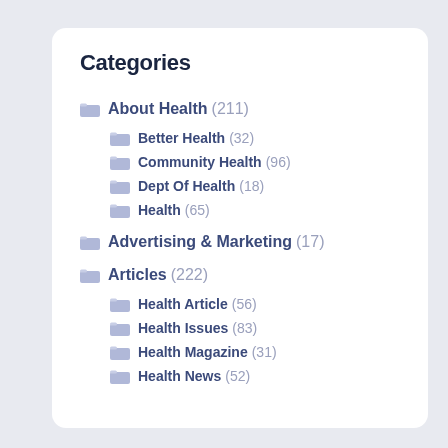Categories
About Health (211)
Better Health (32)
Community Health (96)
Dept Of Health (18)
Health (65)
Advertising & Marketing (17)
Articles (222)
Health Article (56)
Health Issues (83)
Health Magazine (31)
Health News (52)